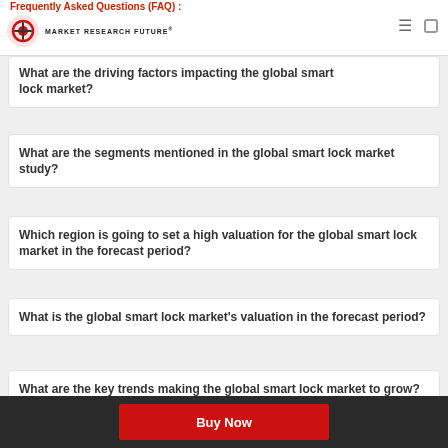Market Research Future
Frequently Asked Questions (FAQ) :
What are the driving factors impacting the global smart lock market?
What are the segments mentioned in the global smart lock market study?
Which region is going to set a high valuation for the global smart lock market in the forecast period?
What is the global smart lock market's valuation in the forecast period?
What are the key trends making the global smart lock market to grow?
Buy Now